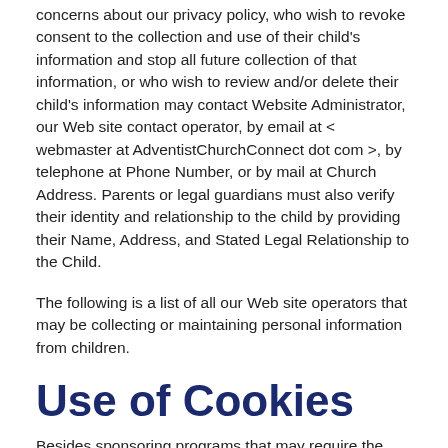concerns about our privacy policy, who wish to revoke consent to the collection and use of their child's information and stop all future collection of that information, or who wish to review and/or delete their child's information may contact Website Administrator, our Web site contact operator, by email at < webmaster at AdventistChurchConnect dot com >, by telephone at Phone Number, or by mail at Church Address. Parents or legal guardians must also verify their identity and relationship to the child by providing their Name, Address, and Stated Legal Relationship to the Child.
The following is a list of all our Web site operators that may be collecting or maintaining personal information from children.
Use of Cookies
Besides sponsoring programs that may require the disclosure of personal information for participation, we may also use special technology called "cookies." Cookies are test files that contain pieces of information that a Web site transfers to an individual's hard disk. They can be useful for record-keeping purposes and help us to tailor our Web site to the interests and needs of our